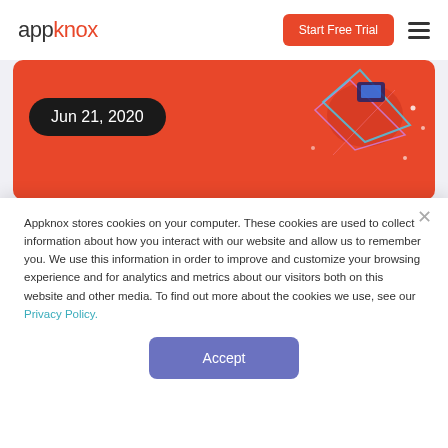appknox — Start Free Trial
[Figure (screenshot): Red banner with date badge 'Jun 21, 2020' and abstract geometric graphic on the right side with teal/pink shapes on coral red background]
Around two weeks ago, we started a new initiative at Appknox. The intention was to start a collection of detailed
Appknox stores cookies on your computer. These cookies are used to collect information about how you interact with our website and allow us to remember you. We use this information in order to improve and customize your browsing experience and for analytics and metrics about our visitors both on this website and other media. To find out more about the cookies we use, see our Privacy Policy.